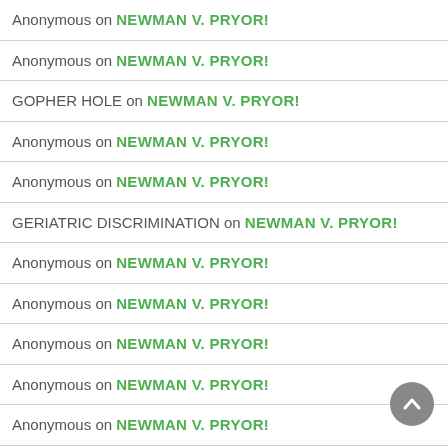Anonymous on NEWMAN V. PRYOR!
Anonymous on NEWMAN V. PRYOR!
GOPHER HOLE on NEWMAN V. PRYOR!
Anonymous on NEWMAN V. PRYOR!
Anonymous on NEWMAN V. PRYOR!
GERIATRIC DISCRIMINATION on NEWMAN V. PRYOR!
Anonymous on NEWMAN V. PRYOR!
Anonymous on NEWMAN V. PRYOR!
Anonymous on NEWMAN V. PRYOR!
Anonymous on NEWMAN V. PRYOR!
Anonymous on NEWMAN V. PRYOR!
Bill Gelin Bill Sh'ts on NEWMAN V. PRYOR!
Anonymous on NEWMAN V. PRYOR!